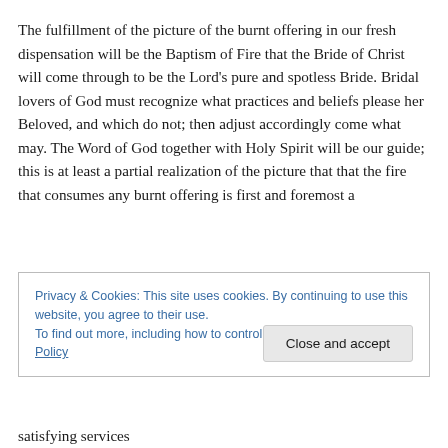The fulfillment of the picture of the burnt offering in our fresh dispensation will be the Baptism of Fire that the Bride of Christ will come through to be the Lord's pure and spotless Bride. Bridal lovers of God must recognize what practices and beliefs please her Beloved, and which do not; then adjust accordingly come what may. The Word of God together with Holy Spirit will be our guide; this is at least a partial realization of the picture that that the fire that consumes any burnt offering is first and foremost a
Privacy & Cookies: This site uses cookies. By continuing to use this website, you agree to their use.
To find out more, including how to control cookies, see here: Cookie Policy
satisfying services